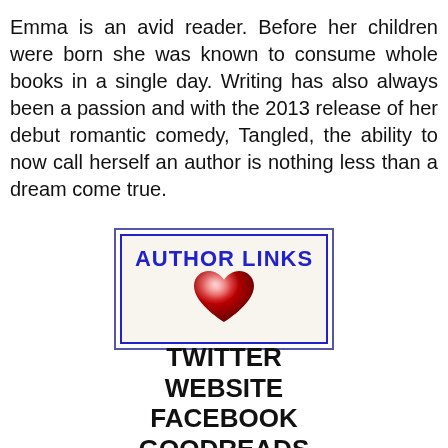Emma is an avid reader. Before her children were born she was known to consume whole books in a single day. Writing has also always been a passion and with the 2013 release of her debut romantic comedy, Tangled, the ability to now call herself an author is nothing less than a dream come true.
[Figure (illustration): A rectangular bordered box with 'AUTHOR LINKS' text in blue and a red heart graphic overlapping the text below it]
TWITTER
WEBSITE
FACEBOOK
GOODREADS